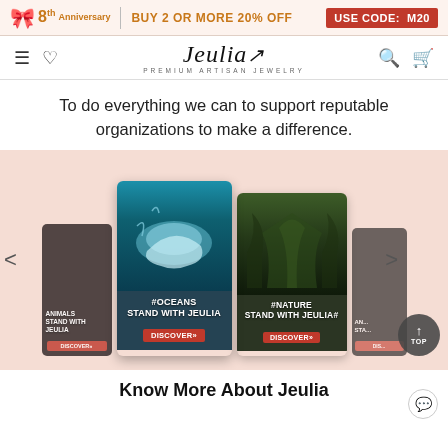8th Anniversary | BUY 2 OR MORE 20% OFF | USE CODE: M20
[Figure (logo): Jeulia Premium Artisan Jewelry logo with navigation icons (hamburger menu, heart, search, cart)]
To do everything we can to support reputable organizations to make a difference.
[Figure (screenshot): Carousel of charity campaign cards: #OCEANS STAND WITH JEULIA with DISCOVER>> button (ocean/dolphin background), #NATURE STAND WITH JEULIA# with DISCOVER>> button (forest background), and partially visible animal cards on sides. Navigation arrows on left and right. TOP scroll button bottom right.]
Know More About Jeulia